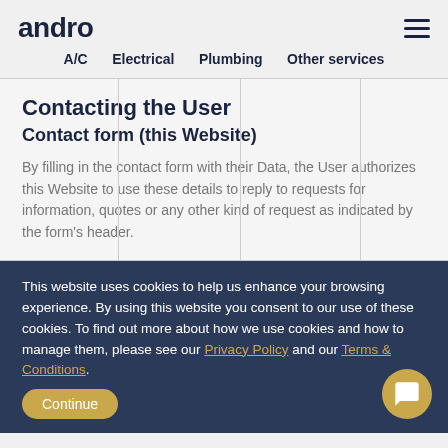andro  A/C  Electrical  Plumbing  Other services
Contacting the User
Contact form (this Website)
By filling in the contact form with their Data, the User authorizes this Website to use these details to reply to requests for information, quotes or any other kind of request as indicated by the form's header.
This website uses cookies to help us enhance your browsing experience. By using this website you consent to our use of these cookies. To find out more about how we use cookies and how to manage them, please see our Privacy Policy and our Terms & Conditions.